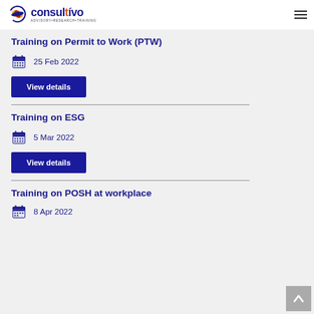Consultivo — ADVISORY • RESEARCH • TRAINING
Training on Permit to Work (PTW)
25 Feb 2022
View details
Training on ESG
5 Mar 2022
View details
Training on POSH at workplace
8 Apr 2022 (partially visible)